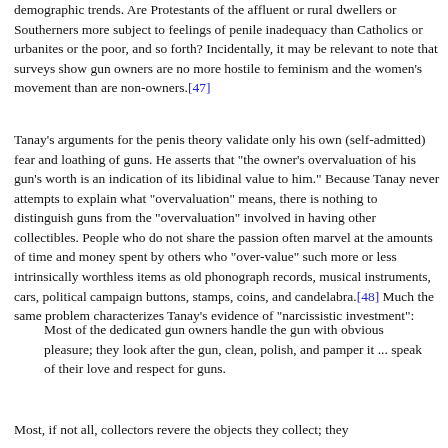demographic trends. Are Protestants of the affluent or rural dwellers or Southerners more subject to feelings of penile inadequacy than Catholics or urbanites or the poor, and so forth? Incidentally, it may be relevant to note that surveys show gun owners are no more hostile to feminism and the women's movement than are non-owners.[47]
Tanay's arguments for the penis theory validate only his own (self-admitted) fear and loathing of guns. He asserts that "the owner's overvaluation of his gun's worth is an indication of its libidinal value to him." Because Tanay never attempts to explain what "overvaluation" means, there is nothing to distinguish guns from the "overvaluation" involved in having other collectibles. People who do not share the passion often marvel at the amounts of time and money spent by others who "over-value" such more or less intrinsically worthless items as old phonograph records, musical instruments, cars, political campaign buttons, stamps, coins, and candelabra.[48] Much the same problem characterizes Tanay's evidence of "narcissistic investment":
Most of the dedicated gun owners handle the gun with obvious pleasure; they look after the gun, clean, polish, and pamper it ... speak of their love and respect for guns.
Most, if not all, collectors revere the objects they collect; they